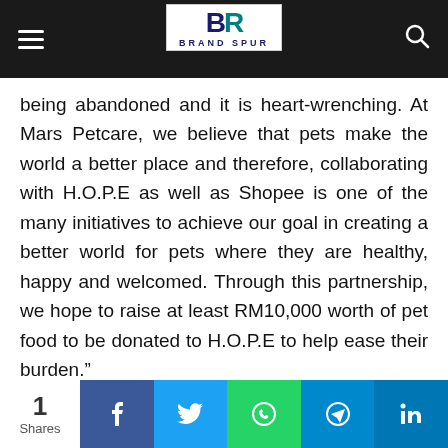Brand Spur
being abandoned and it is heart-wrenching. At Mars Petcare, we believe that pets make the world a better place and therefore, collaborating with H.O.P.E as well as Shopee is one of the many initiatives to achieve our goal in creating a better world for pets where they are healthy, happy and welcomed. Through this partnership, we hope to raise at least RM10,000 worth of pet food to be donated to H.O.P.E to help ease their burden.”
1 Shares | Facebook | Twitter | WhatsApp | Telegram | LinkedIn